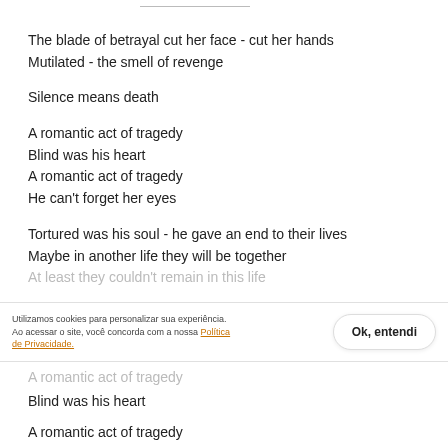The blade of betrayal cut her face - cut her hands
Mutilated - the smell of revenge
Silence means death
A romantic act of tragedy
Blind was his heart
A romantic act of tragedy
He can't forget her eyes
Tortured was his soul - he gave an end to their lives
Maybe in another life they will be together
At least they couldn't remain in this life
Utilizamos cookies para personalizar sua experiência. Ao acessar o site, você concorda com a nossa Política de Privacidade.
Ok, entendi
A romantic act of tragedy
Blind was his heart

A romantic act of tragedy